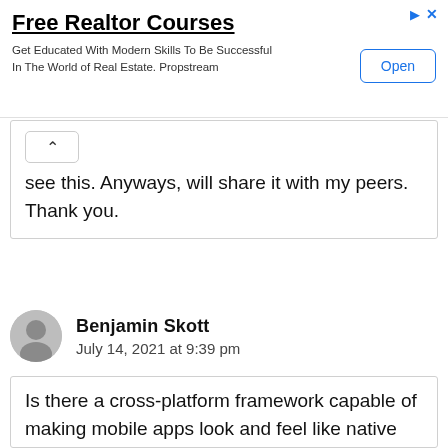[Figure (other): Advertisement banner for Free Realtor Courses by Propstream with an Open button]
see this. Anyways, will share it with my peers. Thank you.
Benjamin Skott
July 14, 2021 at 9:39 pm
Is there a cross-platform framework capable of making mobile apps look and feel like native ones? Meet